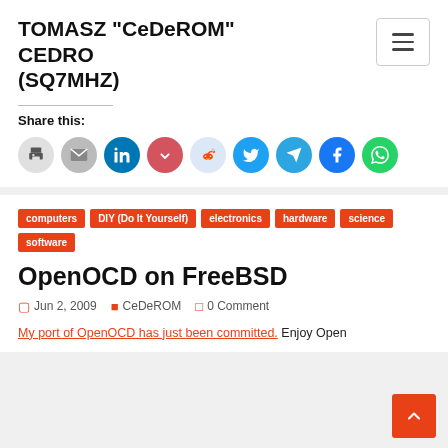TOMASZ "CeDeROM" CEDRO (SQ7MHZ)
Share this:
[Figure (infographic): Row of social sharing icon circles: print, email, LinkedIn, Pocket, Reddit, Twitter, Telegram, Facebook, WhatsApp]
computers
DIY (Do It Yourself)
electronics
hardware
science
software
OpenOCD on FreeBSD
Jun 2, 2009   CeDeROM   0 Comment
My port of OpenOCD has just been committed. Enjoy Open